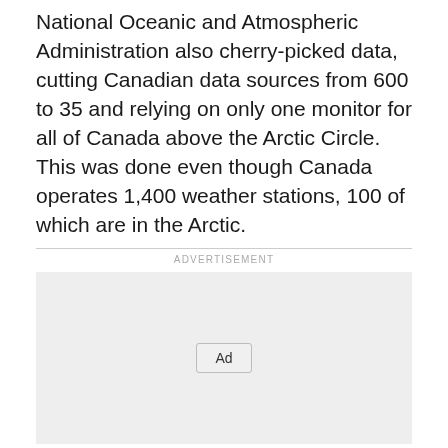National Oceanic and Atmospheric Administration also cherry-picked data, cutting Canadian data sources from 600 to 35 and relying on only one monitor for all of Canada above the Arctic Circle. This was done even though Canada operates 1,400 weather stations, 100 of which are in the Arctic.
[Figure (other): Advertisement placeholder box with 'Ad' button centered inside a light gray rectangle, preceded by a horizontal rule and 'ADVERTISEMENT' label]